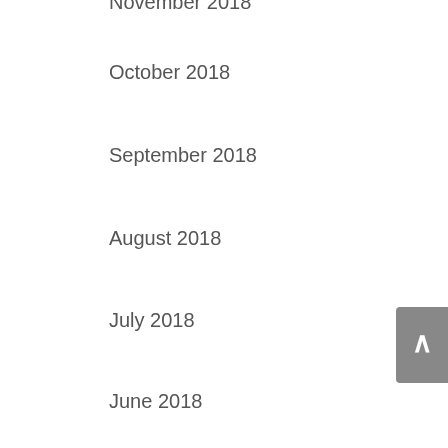November 2018
October 2018
September 2018
August 2018
July 2018
June 2018
May 2018
Categories
Uncategorized
Meta
Log in
Entries feed